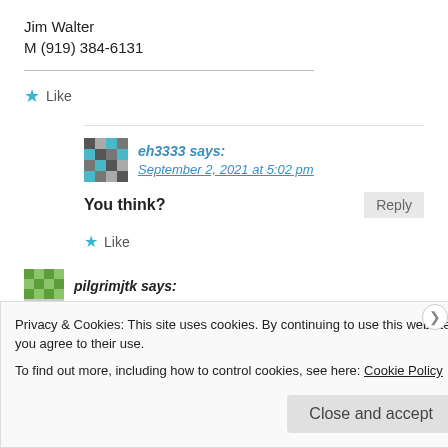Jim Walter
M (919) 384-6131
Like
eh3333 says:
September 2, 2021 at 5:02 pm
You think?
Reply
Like
pilgrimjtk says:
Privacy & Cookies: This site uses cookies. By continuing to use this website, you agree to their use.
To find out more, including how to control cookies, see here: Cookie Policy
Close and accept